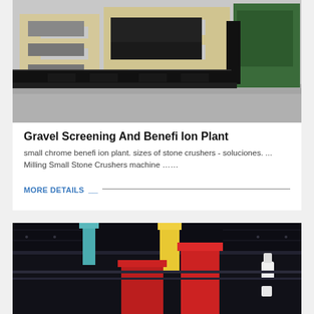[Figure (photo): Industrial gravel screening and beneficiation plant equipment - beige/cream colored heavy machinery frames with black conveyor/screen components, green equipment visible on right side, photographed outdoors on concrete.]
Gravel Screening And Benefi Ion Plant
small chrome benefi ion plant. sizes of stone crushers - soluciones. ... Milling Small Stone Crushers machine ……
MORE DETAILS
[Figure (photo): Close-up of industrial screening/crushing equipment showing red and yellow painted metal components, black steel frame and panels, with hardware visible against dark background.]